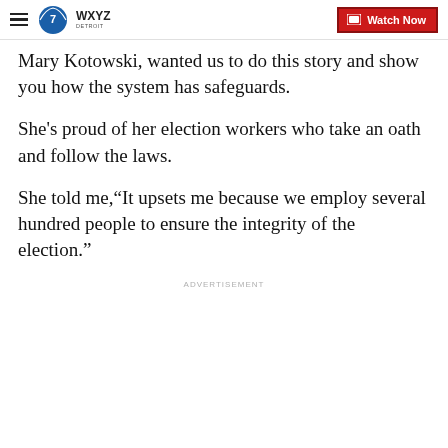WXYZ Detroit — Watch Now
Mary Kotowski, wanted us to do this story and show you how the system has safeguards.
She's proud of her election workers who take an oath and follow the laws.
She told me,“It upsets me because we employ several hundred people to ensure the integrity of the election.”
ADVERTISEMENT